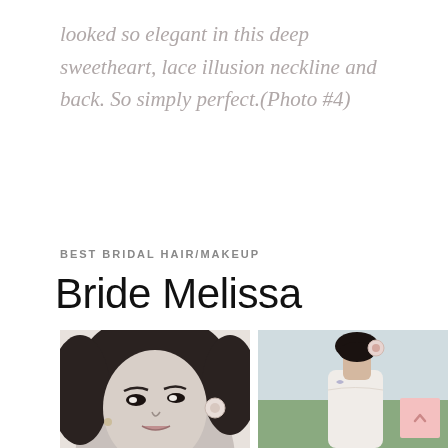looked so elegant in this deep sweetheart, lace illusion neckline and back. So simply perfect.(Photo #4)
BEST BRIDAL HAIR/MAKEUP
Bride Melissa
[Figure (photo): Two photos of Bride Melissa: left is a close-up black-and-white portrait of a dark-haired bride with a flower hair accessory; right is a color photo of the bride from behind showing her back, hair up, with a floral hair piece, outdoors.]